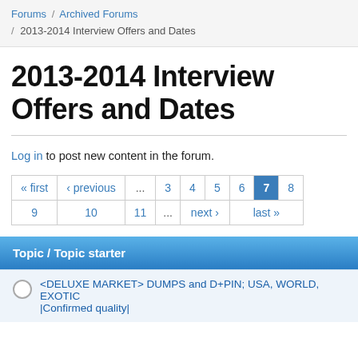Forums / Archived Forums / 2013-2014 Interview Offers and Dates
2013-2014 Interview Offers and Dates
Log in to post new content in the forum.
« first ‹ previous ... 3 4 5 6 7 8 9 10 11 ... next › last »
| Topic / Topic starter |
| --- |
| <DELUXE MARKET> DUMPS and D+PIN; USA, WORLD, EXOTIC |Confirmed quality| |